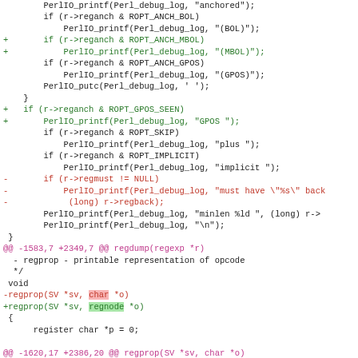[Figure (screenshot): A code diff showing changes to Perl regex debug output functions, including additions of MBOL, GPOS_SEEN anchors, removal of regmust check, and replacement of char* with regnode* in regprop function signature.]